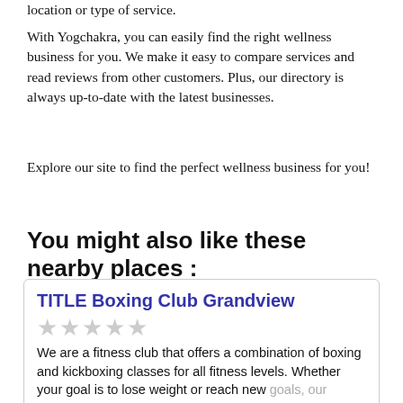location or type of service.
With Yogchakra, you can easily find the right wellness business for you. We make it easy to compare services and read reviews from other customers. Plus, our directory is always up-to-date with the latest businesses.
Explore our site to find the perfect wellness business for you!
You might also like these nearby places :
TITLE Boxing Club Grandview
★★★★★
We are a fitness club that offers a combination of boxing and kickboxing classes for all fitness levels. Whether your goal is to lose weight or reach new goals, our fitness classes are designed to burn